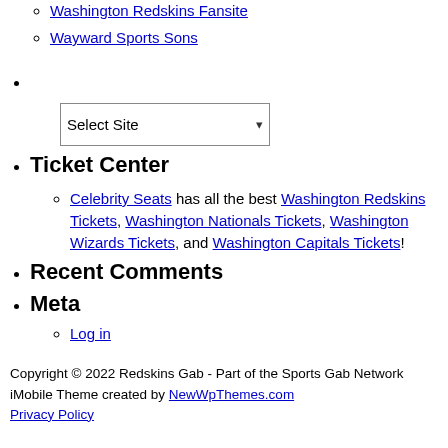Washington Redskins Fansite
Wayward Sports Sons
(bullet with select dropdown)
Ticket Center
Celebrity Seats has all the best Washington Redskins Tickets, Washington Nationals Tickets, Washington Wizards Tickets, and Washington Capitals Tickets!
Recent Comments
Meta
Log in
Copyright © 2022 Redskins Gab - Part of the Sports Gab Network iMobile Theme created by NewWpThemes.com Privacy Policy